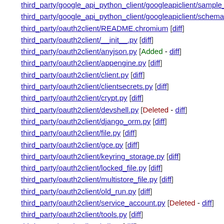third_party/google_api_python_client/googleapiclient/sample_tools [...]
third_party/google_api_python_client/googleapiclient/schema.py [diff]
third_party/oauth2client/README.chromium [diff]
third_party/oauth2client/__init__.py [diff]
third_party/oauth2client/anyjson.py [Added - diff]
third_party/oauth2client/appengine.py [diff]
third_party/oauth2client/client.py [diff]
third_party/oauth2client/clientsecrets.py [diff]
third_party/oauth2client/crypt.py [diff]
third_party/oauth2client/devshell.py [Deleted - diff]
third_party/oauth2client/django_orm.py [diff]
third_party/oauth2client/file.py [diff]
third_party/oauth2client/gce.py [diff]
third_party/oauth2client/keyring_storage.py [diff]
third_party/oauth2client/locked_file.py [diff]
third_party/oauth2client/multistore_file.py [diff]
third_party/oauth2client/old_run.py [diff]
third_party/oauth2client/service_account.py [Deleted - diff]
third_party/oauth2client/tools.py [diff]
third_party/oauth2client/util.py [diff]
third_party/oauth2client/xsrfutil.py [diff]